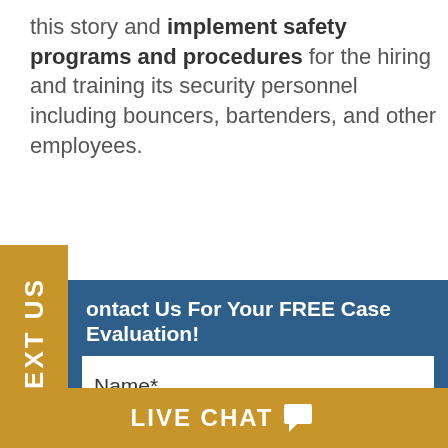this story and implement safety programs and procedures for the hiring and training its security personnel including bouncers, bartenders, and other employees.
Contact Us For Your FREE Case Evaluation!
Name*
Email*
LIVE CHAT